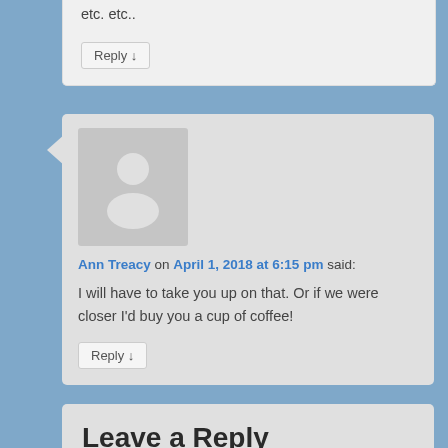etc. etc..
Reply ↓
Ann Treacy on April 1, 2018 at 6:15 pm said:
I will have to take you up on that. Or if we were closer I'd buy you a cup of coffee!
Reply ↓
Leave a Reply
Your email address will not be published. Required fields are marked *